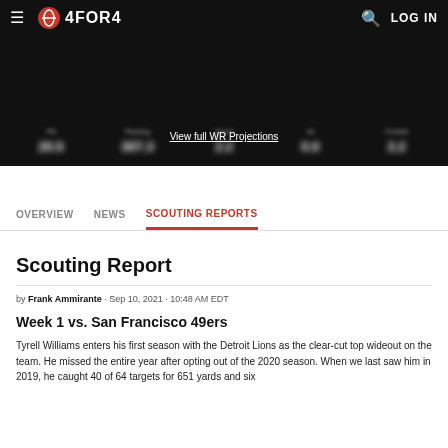4FOR4
[Figure (screenshot): Blurred stats banner with WR projection numbers on dark background]
View full WR Projections
OVERVIEW  NEWS  SCOUTING REPORTS
Scouting Report
by Frank Ammirante · Sep 10, 2021 · 10:48 AM EDT
Week 1 vs. San Francisco 49ers
Tyrell Williams enters his first season with the Detroit Lions as the clear-cut top wideout on the team. He missed the entire year after opting out of the 2020 season. When we last saw him in 2019, he caught 40 of 64 targets for 651 yards and six